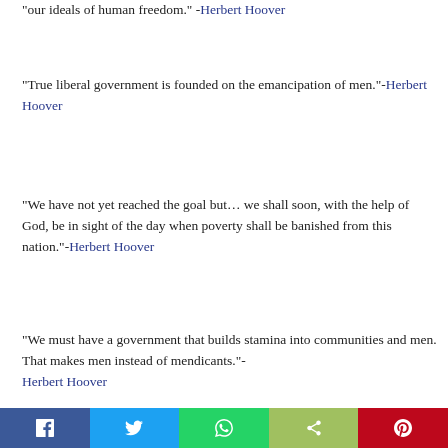“our ideals of human freedom.” -Herbert Hoover
“True liberal government is founded on the emancipation of men.”-Herbert Hoover
“We have not yet reached the goal but… we shall soon, with the help of God, be in sight of the day when poverty shall be banished from this nation.”-Herbert Hoover
“We must have a government that builds stamina into communities and men. That makes men instead of mendicants.”-Herbert Hoover